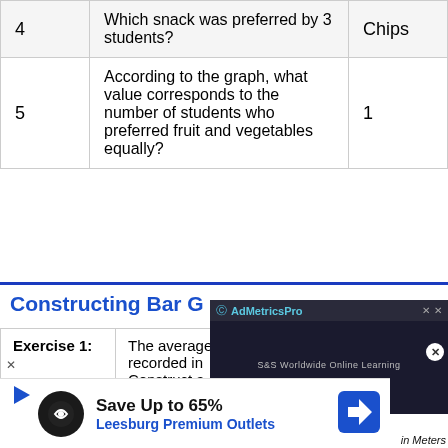|  |  |  |
| --- | --- | --- |
| 4 | Which snack was preferred by 3 students? | Chips |
| 5 | According to the graph, what value corresponds to the number of students who preferred fruit and vegetables equally? | 1 |
Constructing Bar G...
| Exercise 1: | The average... recorded in... Construct a... |
[Figure (screenshot): AdMetricsPro video ad overlay showing a media player with blue forward/play icons and S&S Worldwide Online Learning subtitle]
[Figure (screenshot): Advertisement banner: Save Up to 65% - Leesburg Premium Outlets with navigation arrow icon]
in Meters